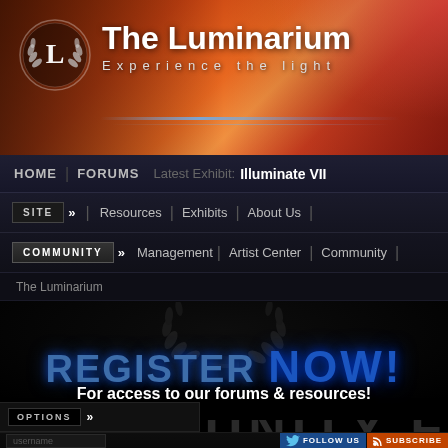[Figure (screenshot): The Luminarium website header with orange/red gradient background, circular logo with L and laurel wreath, site title 'The Luminarium' and subtitle 'Experience the light']
The Luminarium — Experience the light
HOME | FORUMS   Latest Exhibit: Illuminate VII
SITE » | Resources | Exhibits | About Us |
COMMUNITY » Management | Artist Center | Community |
The Luminarium
[Figure (illustration): Dark laurel wreath / crown illustration above the Register Now text]
REGISTER NOW!
For access to our forums & resources!
COMMUNITY FORUMS
OPTIONS »
username
FOLLOW US   SUBSCRIBE